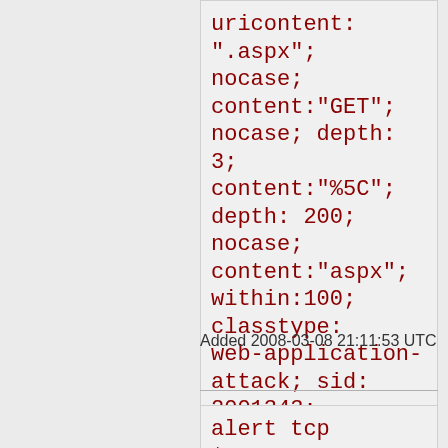uricontent: ".aspx"; nocase; content:"GET"; nocase; depth: 3; content:"%5C"; depth: 200; nocase; content:"aspx"; within:100; classtype:web-application-attack; sid: 2001343; rev:18;)
Added 2008-03-08 21:11:53 UTC
alert tcp $EXTERNAL_NET any -> $HTTP_SERVERS $HTTP_PORTS